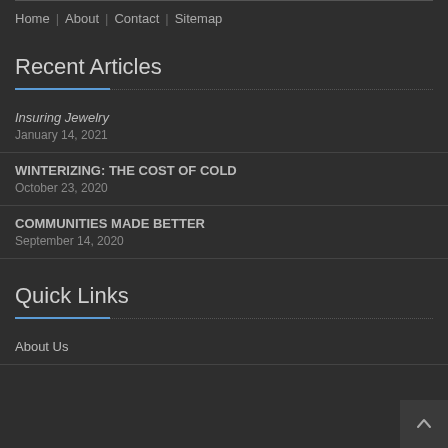Home | About | Contact | Sitemap
Recent Articles
Insuring Jewelry
January 14, 2021
WINTERIZING: THE COST OF COLD
October 23, 2020
COMMUNITIES MADE BETTER
September 14, 2020
Quick Links
About Us